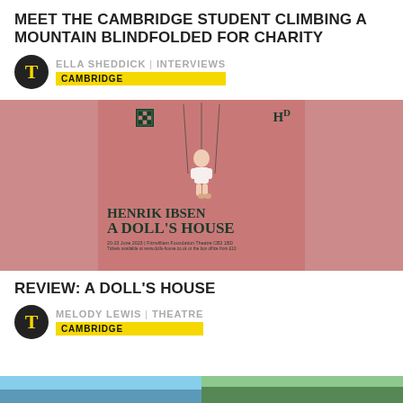MEET THE CAMBRIDGE STUDENT CLIMBING A MOUNTAIN BLINDFOLDED FOR CHARITY
ELLA SHEDDICK | INTERVIEWS
CAMBRIDGE
[Figure (photo): Pink theatrical poster for Henrik Ibsen's A Doll's House showing a marionette puppet figure of a woman in white lingerie with strings attached, against a crumpled pink background. The poster includes a QR code, HB logo, and text reading HENRIK IBSEN A DOLL'S HOUSE with small subtitle text.]
REVIEW: A DOLL'S HOUSE
MELODY LEWIS | THEATRE
CAMBRIDGE
[Figure (photo): Partial images visible at the bottom of the page — left shows what appears to be a blue sky/water scene, right shows green trees or foliage.]